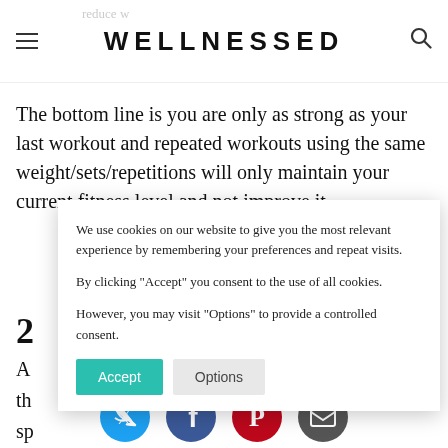WELLNESSED
The bottom line is you are only as strong as your last workout and repeated workouts using the same weight/sets/repetitions will only maintain your current fitness level and not improve it.
We use cookies on our website to give you the most relevant experience by remembering your preferences and repeat visits.

By clicking "Accept" you consent to the use of all cookies.

However, you may visit "Options" to provide a controlled consent.